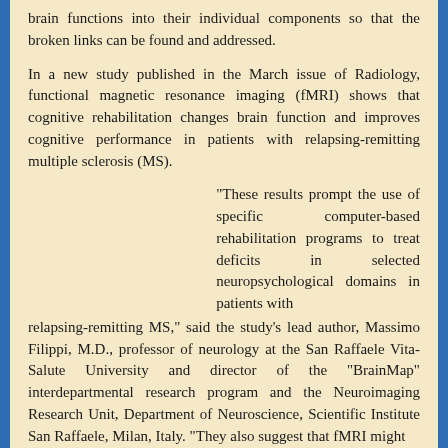brain functions into their individual components so that the broken links can be found and addressed.
In a new study published in the March issue of Radiology, functional magnetic resonance imaging (fMRI) shows that cognitive rehabilitation changes brain function and improves cognitive performance in patients with relapsing-remitting multiple sclerosis (MS).
"These results prompt the use of specific computer-based rehabilitation programs to treat deficits in selected neuropsychological domains in patients with relapsing-remitting MS," said the study's lead author, Massimo Filippi, M.D., professor of neurology at the San Raffaele Vita-Salute University and director of the "BrainMap" interdepartmental research program and the Neuroimaging Research Unit, Department of Neuroscience, Scientific Institute San Raffaele, Milan, Italy. "They also suggest that fMRI might